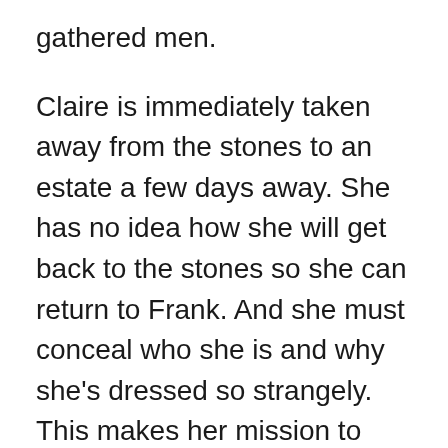gathered men.
Claire is immediately taken away from the stones to an estate a few days away. She has no idea how she will get back to the stones so she can return to Frank. And she must conceal who she is and why she's dressed so strangely. This makes her mission to return extremely difficult. The Laird of the manor does not trust her. Nor does anyone else, which isolates her.
Against all odds, she and Jamie form a friendship. Her healing skills come in handy, and eventually gain her a measure of trust. But later, to protect her from Black Jack Randall, the man who nearly raped her, she must marry Jamie. Though Frank will not be born for two hundred years in the